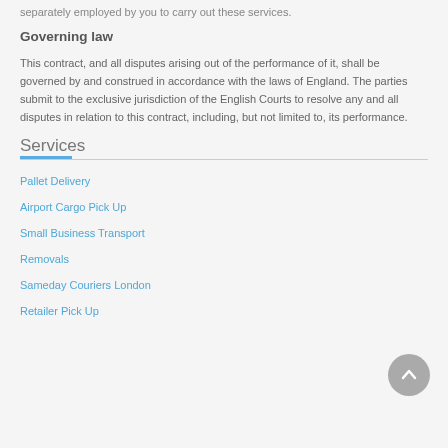separately employed by you to carry out these services.
Governing law
This contract, and all disputes arising out of the performance of it, shall be governed by and construed in accordance with the laws of England. The parties submit to the exclusive jurisdiction of the English Courts to resolve any and all disputes in relation to this contract, including, but not limited to, its performance.
Services
Pallet Delivery
Airport Cargo Pick Up
Small Business Transport
Removals
Sameday Couriers London
Retailer Pick Up